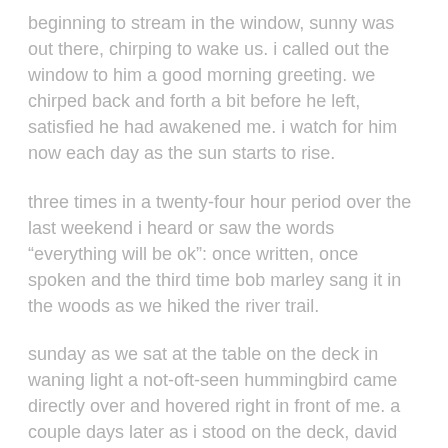beginning to stream in the window, sunny was out there, chirping to wake us. i called out the window to him a good morning greeting. we chirped back and forth a bit before he left, satisfied he had awakened me. i watch for him now each day as the sun starts to rise.
three times in a twenty-four hour period over the last weekend i heard or saw the words “everything will be ok”: once written, once spoken and the third time bob marley sang it in the woods as we hiked the river trail.
sunday as we sat at the table on the deck in waning light a not-oft-seen hummingbird came directly over and hovered right in front of me. a couple days later as i stood on the deck, david watching, a monarch butterfly flew over to me and circled less than a foot above my head. and sunny, a chipmunk on a fence post, greeting me each day.